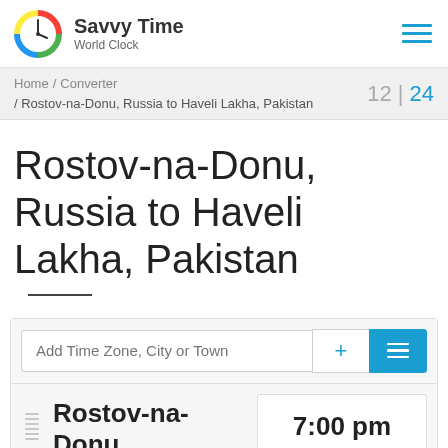Savvy Time World Clock
Home / Converter / Rostov-na-Donu, Russia to Haveli Lakha, Pakistan  12 | 24
Rostov-na-Donu, Russia to Haveli Lakha, Pakistan
Add Time Zone, City or Town
Rostov-na-Donu  7:00 pm